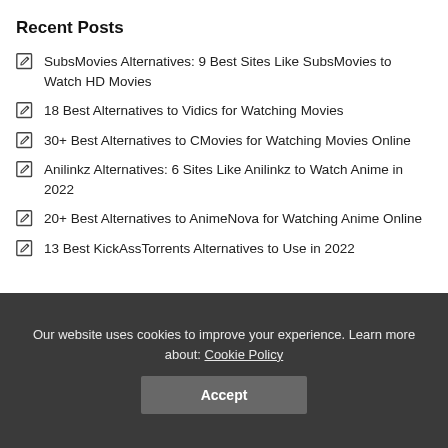Recent Posts
SubsMovies Alternatives: 9 Best Sites Like SubsMovies to Watch HD Movies
18 Best Alternatives to Vidics for Watching Movies
30+ Best Alternatives to CMovies for Watching Movies Online
Anilinkz Alternatives: 6 Sites Like Anilinkz to Watch Anime in 2022
20+ Best Alternatives to AnimeNova for Watching Anime Online
13 Best KickAssTorrents Alternatives to Use in 2022
Our website uses cookies to improve your experience. Learn more about: Cookie Policy
Accept